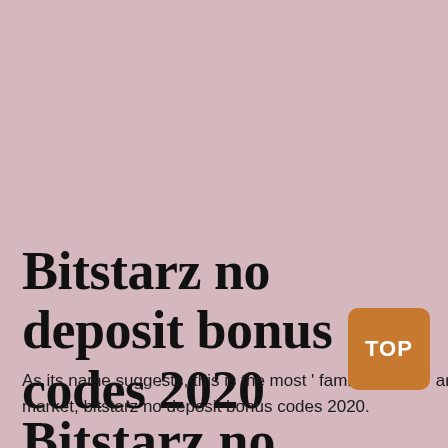Bitstarz no deposit bonus codes 2020
As its name suggests, this is the most ' family friendly ' and approachable Bitcoin faucets you will ever find in the market, bitstarz no deposit bonus codes 2020.
Bitstarz no deposit codes 2020